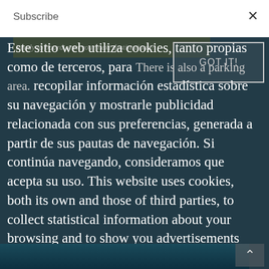Subscribe
Ready to board onto your next destinations?
There is also a parking area.
Este sitio web utiliza cookies, tanto propias como de terceros, para recopilar información estadística sobre su navegación y mostrarle publicidad relacionada con sus preferencias, generada a partir de sus pautas de navegación. Si continúa navegando, consideramos que acepta su uso. This website uses cookies, both its own and those of third parties, to collect statistical information about your browsing and to show you advertisements related to your preferences, generated from your browsing guidelines. If you go on surfing, we will consider you accepting its use.